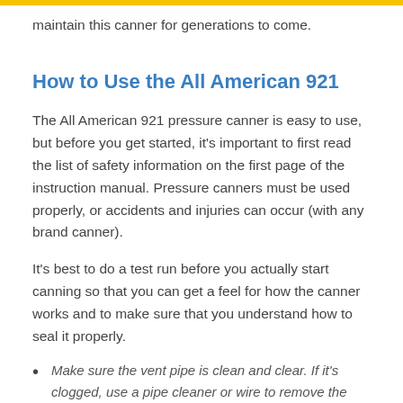maintain this canner for generations to come.
How to Use the All American 921
The All American 921 pressure canner is easy to use, but before you get started, it's important to first read the list of safety information on the first page of the instruction manual. Pressure canners must be used properly, or accidents and injuries can occur (with any brand canner).
It's best to do a test run before you actually start canning so that you can get a feel for how the canner works and to make sure that you understand how to seal it properly.
Make sure the vent pipe is clean and clear. If it's clogged, use a pipe cleaner or wire to remove the build-up.
Place 2–3" of water into the unit.